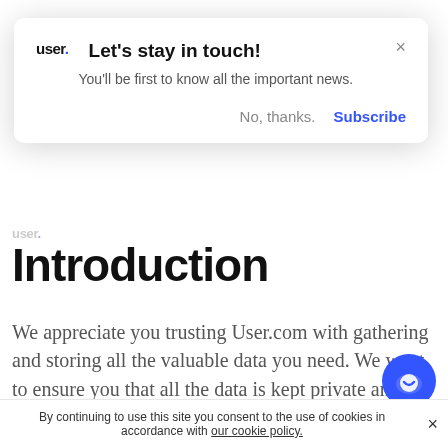[Figure (screenshot): Modal popup overlay with logo 'user.' (blue dot), title 'Let’s stay in touch!', subtitle text 'You’ll be first to know all the important news.', close button X, and action buttons 'No, thanks.' and 'Subscribe' (blue)]
Introduction
We appreciate you trusting User.com with gathering and storing all the valuable data you need. We want to ensure you that all the data is kept private and secure. In this section, our aim is to provide you with transparency about the ways we store and protect all the gathered information. We promise to keep updating the page due to adding new security measures and improvement to User.com. Everyth
By continuing to use this site you consent to the use of cookies in accordance with our cookie policy.